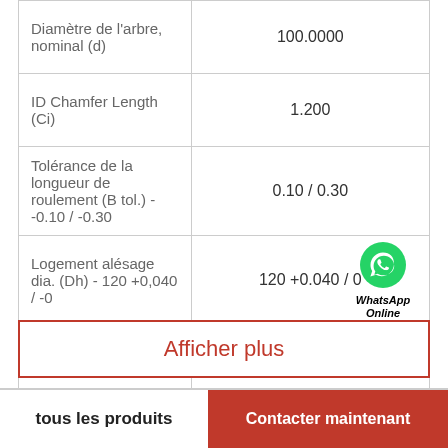| Paramètre | Valeur |
| --- | --- |
| Diamètre de l'arbre, nominal (d) | 100.0000 |
| ID Chamfer Length (Ci) | 1.200 |
| Tolérance de la longueur de roulement (B tol.) - -0.10 / -0.30 | 0.10 / 0.30 |
| Logement alésage dia. (Dh) - 120 +0,040 / -0 | 120 +0.040 / 0 |
| Type de roulement | straight |
Afficher plus
tous les produits | Contacter maintenant